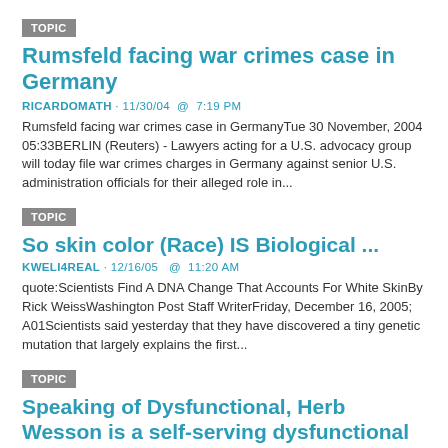TOPIC
Rumsfeld facing war crimes case in Germany
RICARDOMATH · 11/30/04  @  7:19 PM
Rumsfeld facing war crimes case in GermanyTue 30 November, 2004 05:33BERLIN (Reuters) - Lawyers acting for a U.S. advocacy group will today file war crimes charges in Germany against senior U.S. administration officials for their alleged role in...
TOPIC
So skin color (Race) IS Biological ...
KWELI4REAL · 12/16/05  @  11:20 AM
quote:Scientists Find A DNA Change That Accounts For White SkinBy Rick WeissWashington Post Staff WriterFriday, December 16, 2005; A01Scientists said yesterday that they have discovered a tiny genetic mutation that largely explains the first...
TOPIC
Speaking of Dysfunctional, Herb Wesson is a self-serving dysfunctional nitwit!